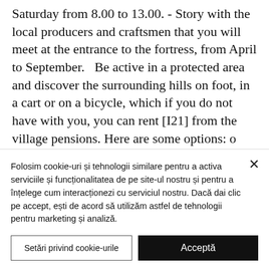Saturday from 8.00 to 13.00. - Story with the local producers and craftsmen that you will meet at the entrance to the fortress, from April to September.   Be active in a protected area and discover the surrounding hills on foot, in a cart or on a bicycle, which if you do not have with you, you can rent [I21] from the village pensions. Here are some options: o Biertan - Copșa Mare - New Săsesc - Mălâncrav- blue
Folosim cookie-uri și tehnologii similare pentru a activa serviciile și funcționalitatea de pe site-ul nostru și pentru a înțelege cum interacționezi cu serviciul nostru. Dacă dai clic pe accept, ești de acord să utilizăm astfel de tehnologii pentru marketing și analiză.
Setări privind cookie-urile
Acceptă